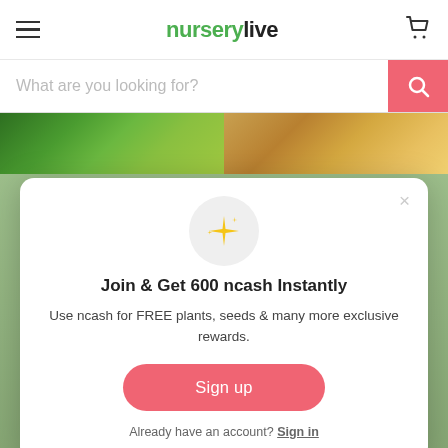nurserylive
What are you looking for?
[Figure (screenshot): Background image strip showing plants and decorative pots]
[Figure (infographic): Popup modal with sparkle icon, title 'Join & Get 600 ncash Instantly', description text, Sign up button, and Sign in link]
Join & Get 600 ncash Instantly
Use ncash for FREE plants, seeds & many more exclusive rewards.
Sign up
Already have an account? Sign in